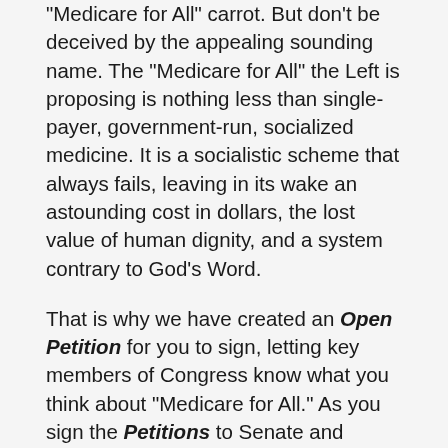“Medicare for All” carrot. But don’t be deceived by the appealing sounding name. The “Medicare for All” the Left is proposing is nothing less than single-payer, government-run, socialized medicine. It is a socialistic scheme that always fails, leaving in its wake an astounding cost in dollars, the lost value of human dignity, and a system contrary to God’s Word.
That is why we have created an Open Petition for you to sign, letting key members of Congress know what you think about “Medicare for All.” As you sign the Petitions to Senate and House leadership and members of the oversight committees, you will be asking them to resist and defeat any efforts to pass “Medicare for All.”
Request your petitions by filling out the information below and join your voice with thousands of other like-minded men and women. Your representatives in Washington must know that “Medicare for All” violates Biblical and economic